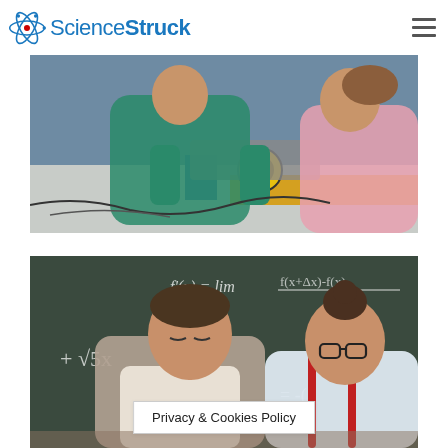ScienceStruck
[Figure (photo): Two children working on a robot car with a yellow wheel on a table with blue and yellow surfaces and wires in a workshop setting.]
[Figure (photo): Two children studying in front of a chalkboard covered with math equations including derivatives and square roots.]
Privacy & Cookies Policy